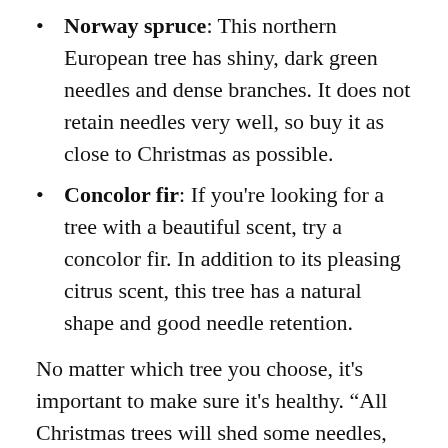Norway spruce: This northern European tree has shiny, dark green needles and dense branches. It does not retain needles very well, so buy it as close to Christmas as possible.
Concolor fir: If you're looking for a tree with a beautiful scent, try a concolor fir. In addition to its pleasing citrus scent, this tree has a natural shape and good needle retention.
No matter which tree you choose, it’s important to make sure it’s healthy. “All Christmas trees will shed some needles, but it’s not a good sign if lots of needles are falling off,” says Richard. “It’s also a bad sign if the tree feels light.”
Related: Watch how quickly a dry Christmas tree can catch fire